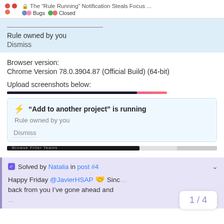The “Rule Running” Notification Steals Focus ... | Bugs | Closed
Rule owned by you
Dismiss
Browser version:
Chrome Version 78.0.3904.87 (Official Build) (64-bit)
Upload screenshots below:
[Figure (screenshot): Screenshot of a notification card: lightning bolt icon, bold text '“Add to another project” is running', subtext 'Rule owned by you', 'Dismiss' link with dotted underline, and a scroll bar at the bottom.]
Solved by Natalia in post #4
Happy Friday @JavierHSAP 🤝 Sinc... back from you I’ve gone ahead and ...